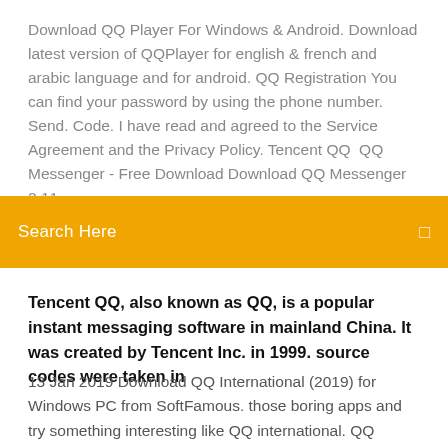Download QQ Player For Windows & Android. Download latest version of QQPlayer for english & french and arabic language and for android. QQ Registration You can find your password by using the phone number. Send. Code. I have read and agreed to the Service Agreement and the Privacy Policy. Tencent QQ  QQ Messenger - Free Download Download QQ Messenger 2.11
Search Here
Tencent QQ, also known as QQ, is a popular instant messaging software in mainland China. It was created by Tencent Inc. in 1999. source codes were taken in
13 Jan 2019 Download QQ International (2019) for Windows PC from SoftFamous. those boring apps and try something interesting like QQ international. QQ International - Free download and software reviews 30 May 2017 Currently QQ International is available in a 6-language interface, English, French, Japanese, Spanish, German and Korean. and is fully QQ